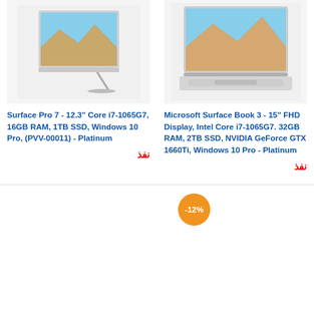[Figure (photo): Surface Pro 7 tablet in kickstand mode with silver/platinum color on light grey background]
[Figure (photo): Microsoft Surface Book 3 15-inch laptop in silver/platinum on light background showing screen with landscape wallpaper]
Surface Pro 7 - 12.3" Core i7-1065G7, 16GB RAM, 1TB SSD, Windows 10 Pro, (PVV-00011) - Platinum
نفذ
Microsoft Surface Book 3 - 15" FHD Display, Intel Core i7-1065G7. 32GB RAM, 2TB SSD, NVIDIA GeForce GTX 1660Ti, Windows 10 Pro - Platinum
نفذ
[Figure (other): Discount badge showing -12%]